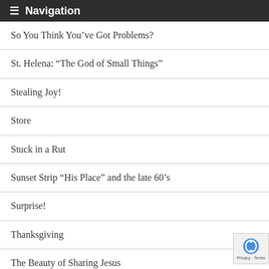Navigation
So You Think You've Got Problems?
St. Helena: “The God of Small Things”
Stealing Joy!
Store
Stuck in a Rut
Sunset Strip “His Place” and the late 60’s
Surprise!
Thanksgiving
The Beauty of Sharing Jesus